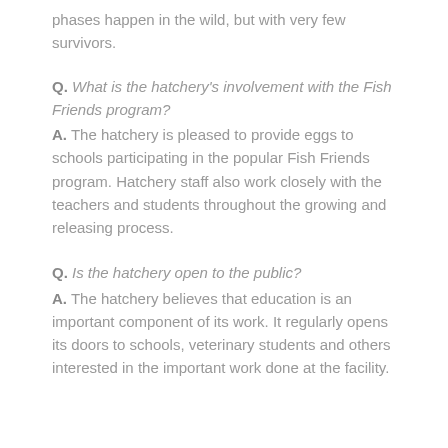phases happen in the wild, but with very few survivors.
Q. What is the hatchery's involvement with the Fish Friends program? A. The hatchery is pleased to provide eggs to schools participating in the popular Fish Friends program. Hatchery staff also work closely with the teachers and students throughout the growing and releasing process.
Q. Is the hatchery open to the public? A. The hatchery believes that education is an important component of its work. It regularly opens its doors to schools, veterinary students and others interested in the important work done at the facility.